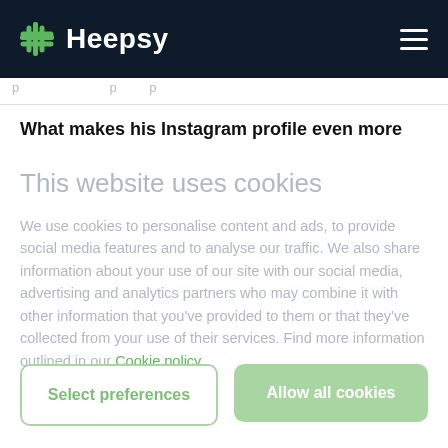Heepsy
p  p  p
What makes his Instagram profile even more
This website uses cookies
We use cookies to personalise content and ads, to provide social media features and to analyse our traffic. We also share information about your use of our site with our social media, advertising and analytics partners who may combine it with other information that you've provided to them or that they've collected from your use of their services. Find more information outlined in our Cookie policy
Select preferences
Allow all cookies